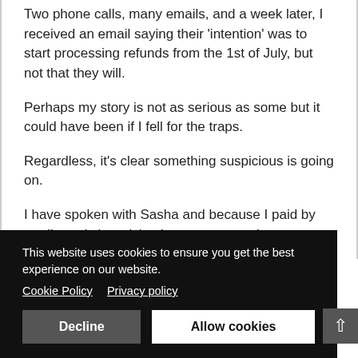Two phone calls, many emails, and a week later, I received an email saying their 'intention' was to start processing refunds from the 1st of July, but not that they will.
Perhaps my story is not as serious as some but it could have been if I fell for the traps.
Regardless, it's clear something suspicious is going on.
I have spoken with Sasha and because I paid by credit card she advised me to contect them.
This website uses cookies to ensure you get the best experience on our website. Cookie Policy   Privacy policy
Decline   Allow cookies